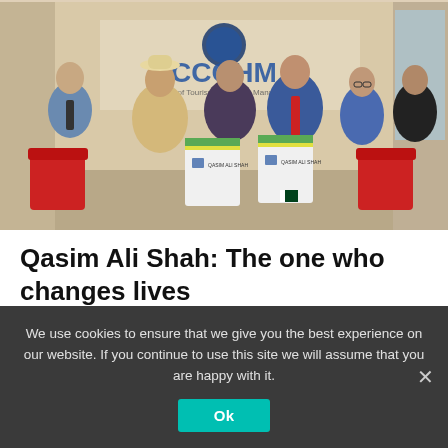[Figure (photo): Group photo of six men standing in an indoor lobby with a CCOHM (College of Tourism and Hotel Management) sign/logo visible in the background. Two men in the center are holding white folders/documents. The man on the left wears a beige suit with a hat; the man in the center-right wears a blue suit with a red tie.]
Qasim Ali Shah: The one who changes lives
We use cookies to ensure that we give you the best experience on our website. If you continue to use this site we will assume that you are happy with it.